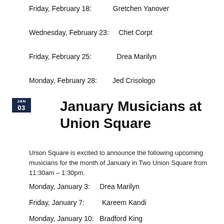Friday, February 18:          Gretchen Yanover
Wednesday, February 23:     Chet Corpt
Friday, February 25:            Drea Marilyn
Monday, February 28:         Jed Crisologo
January Musicians at Union Square
Union Square is excited to announce the following upcoming musicians for the month of January in Two Union Square from 11:30am – 1:30pm.
Monday, January 3:     Drea Marilyn
Friday, January 7:         Kareem Kandi
Monday, January 10:   Bradford King